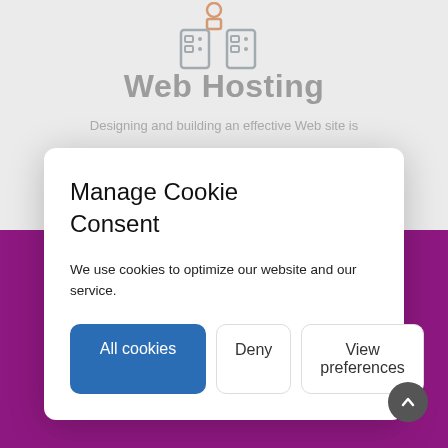[Figure (screenshot): Web hosting page with icon showing server/computer graphics at the top, partially visible behind cookie consent modal]
Web Hosting
Designing and building an effective Web site is
Manage Cookie Consent
We use cookies to optimize our website and our service.
All cookies  Deny  View preferences
Check your Website's SEO